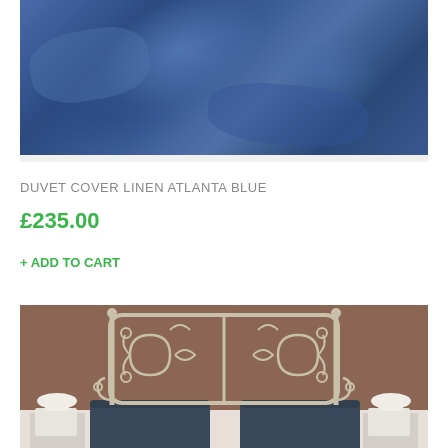[Figure (photo): Close-up photo of blue linen duvet cover fabric, showing rich navy/royal blue textile with folds and texture]
DUVET COVER LINEN ATLANTA BLUE
£235.00
+ ADD TO CART
[Figure (photo): Bedroom scene showing an ornate white/silver wrought iron bed headboard with scroll designs against a brown wall, with navy blue pillows and white bedside lamps]